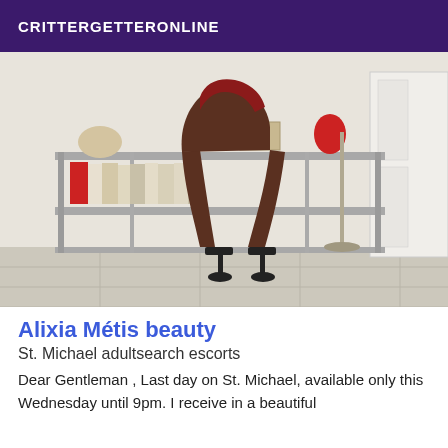CRITTERGETTERONLINE
[Figure (photo): A person standing and leaning forward, viewed from behind, wearing high heels and a short top, in a room with a metal shelf unit holding books and decorative items.]
Alixia Métis beauty
St. Michael adultsearch escorts
Dear Gentleman , Last day on St. Michael, available only this Wednesday until 9pm. I receive in a beautiful